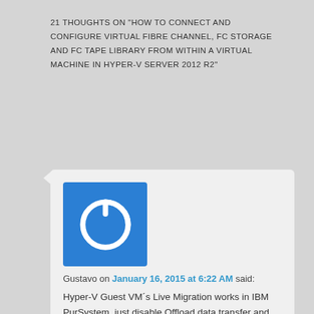21 THOUGHTS ON "HOW TO CONNECT AND CONFIGURE VIRTUAL FIBRE CHANNEL, FC STORAGE AND FC TAPE LIBRARY FROM WITHIN A VIRTUAL MACHINE IN HYPER-V SERVER 2012 R2"
Gustavo on January 16, 2015 at 6:22 AM said: Hyper-V Guest VM´s Live Migration works in IBM PurSystem, just disable Offload data transfer and little more, you must have to correctly create a zoning into the two FC Switches and put 2 FC NICs into VMs and assign to FC vSwitch one WWPN to one vFC Switch and another WWPN to last vFC Switch. beleave me. Its works.
Into the storage v3700 or V7000 must assign manually the WWPN (B) of each vFC NIC for live migration works. Its always shows as degradate or